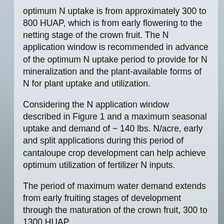optimum N uptake is from approximately 300 to 800 HUAP, which is from early flowering to the netting stage of the crown fruit. The N application window is recommended in advance of the optimum N uptake period to provide for N mineralization and the plant-available forms of N for plant uptake and utilization.
Considering the N application window described in Figure 1 and a maximum seasonal uptake and demand of ~ 140 lbs. N/acre, early and split applications during this period of cantaloupe crop development can help achieve optimum utilization of fertilizer N inputs.
The period of maximum water demand extends from early fruiting stages of development through the maturation of the crown fruit, 300 to 1300 HUAP.
Considering the conditions we are experiencing these days in desert crop production with water shortages and